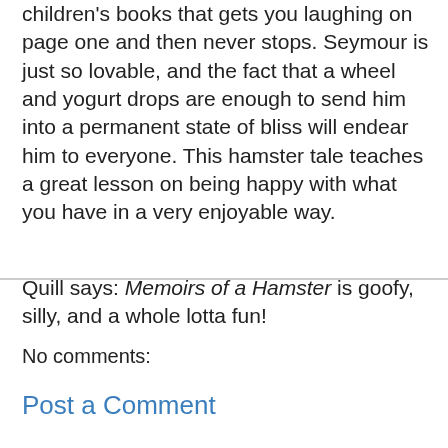children's books that gets you laughing on page one and then never stops. Seymour is just so lovable, and the fact that a wheel and yogurt drops are enough to send him into a permanent state of bliss will endear him to everyone. This hamster tale teaches a great lesson on being happy with what you have in a very enjoyable way.
Quill says: Memoirs of a Hamster is goofy, silly, and a whole lotta fun!
FeatheredQuillBookReviews at 8:53 PM
No comments:
Post a Comment